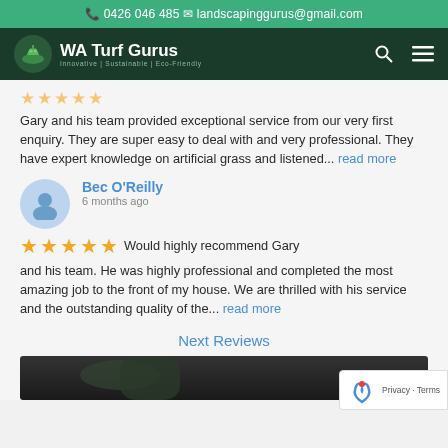0426 046 485   landscapinggurus@gmail.com
[Figure (logo): WA Turf Gurus logo with plant icon, navigation bar with search and menu icons]
Gary and his team provided exceptional service from our very first enquiry. They are super easy to deal with and very professional. They have expert knowledge on artificial grass and listened... read more
Bec O'Reilly
6 months ago
Would highly recommend Gary and his team. He was highly professional and completed the most amazing job to the front of my house. We are thrilled with his service and the outstanding quality of the... read more
Next Reviews
[Figure (photo): Dark outdoor landscape photo partially visible at bottom of page]